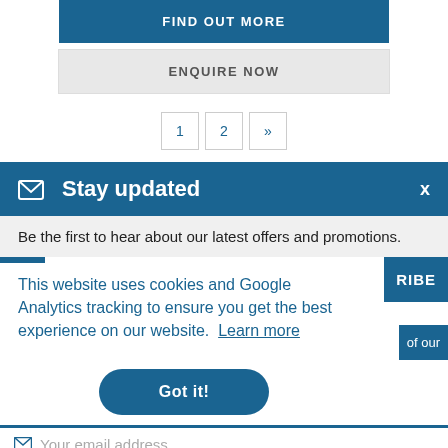FIND OUT MORE
ENQUIRE NOW
1  2  »
✉ Stay updated
Be the first to hear about our latest offers and promotions.
This website uses cookies and Google Analytics tracking to ensure you get the best experience on our website. Learn more
Got it!
Your email address